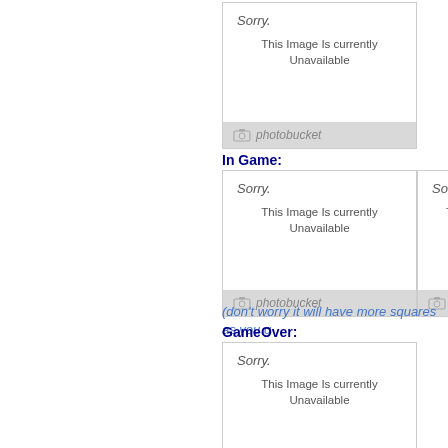[Figure (screenshot): Photobucket placeholder image showing 'Sorry. This Image Is Currently Unavailable' with photobucket branding footer — top image]
In Game:
[Figure (screenshot): Two side-by-side Photobucket placeholder images showing 'Sorry. This Image Is Currently Unavailable' — in-game screenshots]
(don't worry it will have more squares as you g
GameOver:
[Figure (screenshot): Photobucket placeholder image showing 'Sorry. This Image Is Currently Unavailable' with photobucket branding footer — game over image]